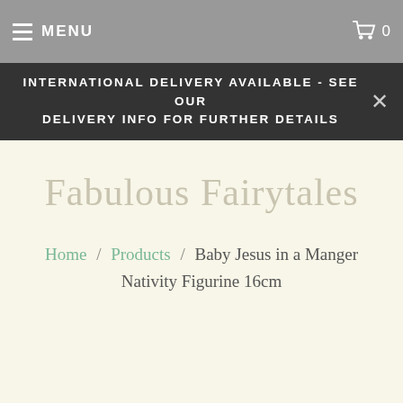MENU  0
INTERNATIONAL DELIVERY AVAILABLE - SEE OUR DELIVERY INFO FOR FURTHER DETAILS
Fabulous Fairytales
Home / Products / Baby Jesus in a Manger Nativity Figurine 16cm